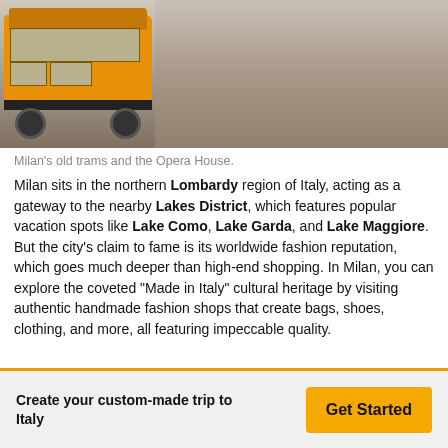[Figure (photo): Photo of Milan's old yellow tram on cobblestone street near the Opera House]
Milan's old trams and the Opera House.
Milan sits in the northern Lombardy region of Italy, acting as a gateway to the nearby Lakes District, which features popular vacation spots like Lake Como, Lake Garda, and Lake Maggiore. But the city's claim to fame is its worldwide fashion reputation, which goes much deeper than high-end shopping. In Milan, you can explore the coveted "Made in Italy" cultural heritage by visiting authentic handmade fashion shops that create bags, shoes, clothing, and more, all featuring impeccable quality.
Create your custom-made trip to Italy
Get Started